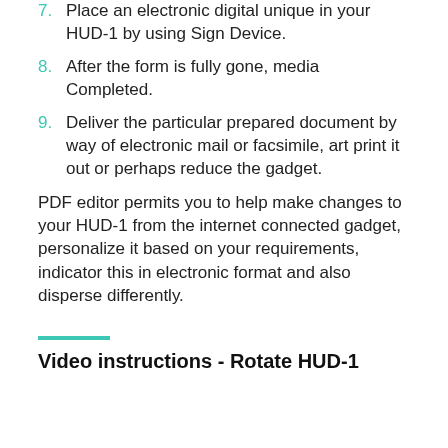7. Place an electronic digital unique in your HUD-1 by using Sign Device.
8. After the form is fully gone, media Completed.
9. Deliver the particular prepared document by way of electronic mail or facsimile, art print it out or perhaps reduce the gadget.
PDF editor permits you to help make changes to your HUD-1 from the internet connected gadget, personalize it based on your requirements, indicator this in electronic format and also disperse differently.
Video instructions - Rotate HUD-1